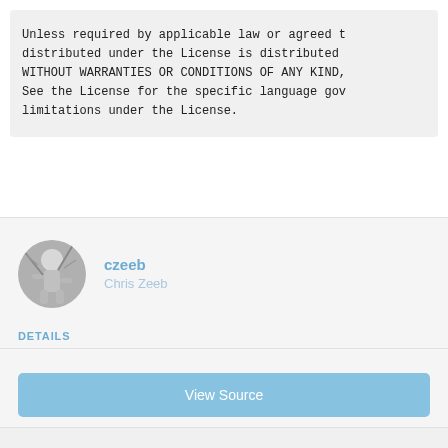Unless required by applicable law or agreed t
distributed under the License is distributed
WITHOUT WARRANTIES OR CONDITIONS OF ANY KIND,
See the License for the specific language gov
limitations under the License.
[Figure (photo): Circular avatar photo of a person rock climbing, black and white image]
czeeb
Chris Zeeb
DETAILS
View Source